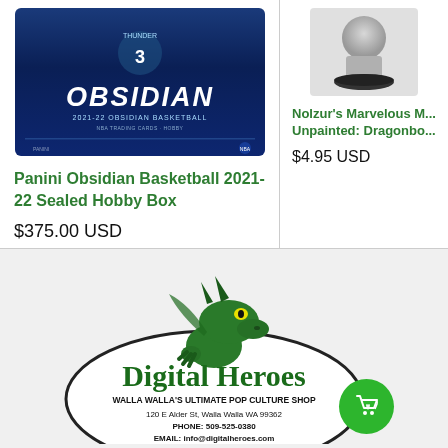[Figure (photo): Panini Obsidian Basketball 2021-22 trading card hobby box product image showing a basketball player wearing number 3 and the word OBSIDIAN in large letters]
Panini Obsidian Basketball 2021-22 Sealed Hobby Box
$375.00 USD
[Figure (photo): Nolzur's Marvelous Miniatures unpainted Dragonborn miniature figure on black base]
Nolzur's Marvelous M... Unpainted: Dragonbo...
$4.95 USD
[Figure (logo): Digital Heroes store logo: green dragon peeking over an oval containing the text Digital Heroes, Walla Walla's Ultimate Pop Culture Shop, 120 E Alder St Walla Walla WA 99362, Phone 509-525-0380, Email info@digitalheroes.com]